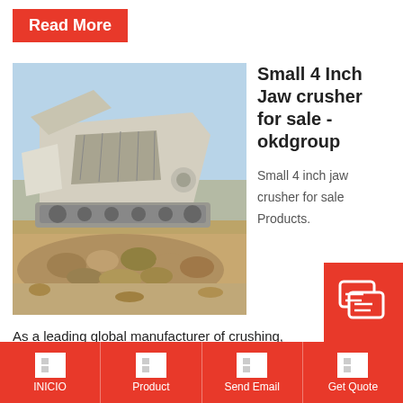Read More
[Figure (photo): Large industrial jaw crusher machine outdoors with pile of crushed rocks/aggregate in foreground, blue sky background]
Small 4 Inch Jaw crusher for sale - okdgroup
Small 4 inch jaw crusher for sale Products.
As a leading global manufacturer of crushing, grinding and mining equipments, we offer advanced, reasonable solutions for any size-reduction requirements including, Small 4 inch jaw crusher for sale, quarry, aggregate, and differen
INICIO | Product | Send Email | Get Quote